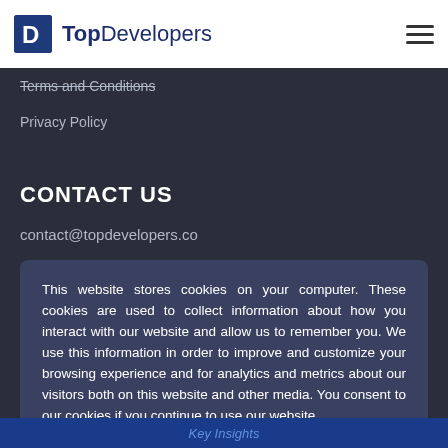TopDevelopers
Terms and Conditions
Privacy Policy
CONTACT US
contact@topdevelopers.co
This website stores cookies on your computer. These cookies are used to collect information about how you interact with our website and allow us to remember you. We use this information in order to improve and customize your browsing experience and for analytics and metrics about our visitors both on this website and other media. You consent to our cookies if you continue to use our website.
Accept
Key Insights